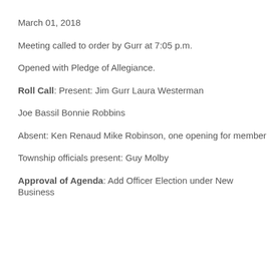March 01, 2018
Meeting called to order by Gurr at 7:05 p.m.
Opened with Pledge of Allegiance.
Roll Call: Present: Jim Gurr Laura Westerman
Joe Bassil Bonnie Robbins
Absent: Ken Renaud Mike Robinson, one opening for member
Township officials present: Guy Molby
Approval of Agenda: Add Officer Election under New Business